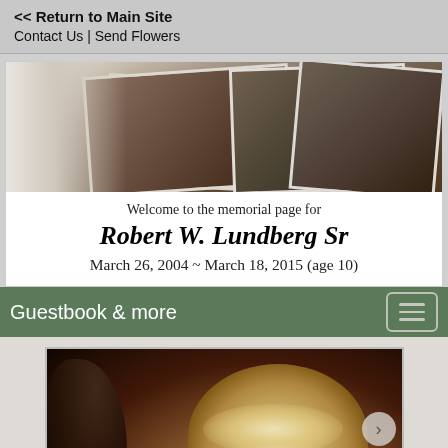<< Return to Main Site
Contact Us | Send Flowers
[Figure (photo): Memorial header banner with scattered vintage sepia-toned photographs]
Welcome to the memorial page for
Robert W. Lundberg Sr
March 26, 2004 ~ March 18, 2015 (age 10)
Guestbook & more
[Figure (photo): Portrait photograph of Robert W. Lundberg Sr, an older man with white/blond hair, dark background]